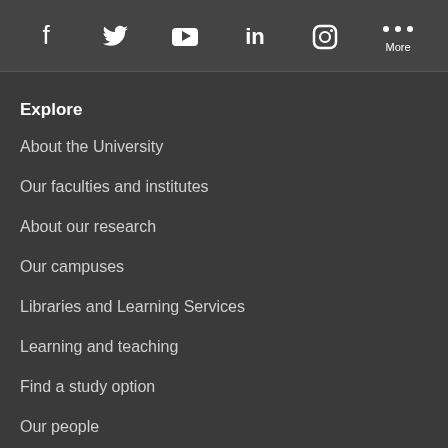[Figure (other): Social media icon bar with Facebook, Twitter, YouTube, LinkedIn, Instagram, and More icons on dark background]
Explore
About the University
Our faculties and institutes
About our research
Our campuses
Libraries and Learning Services
Learning and teaching
Find a study option
Our people